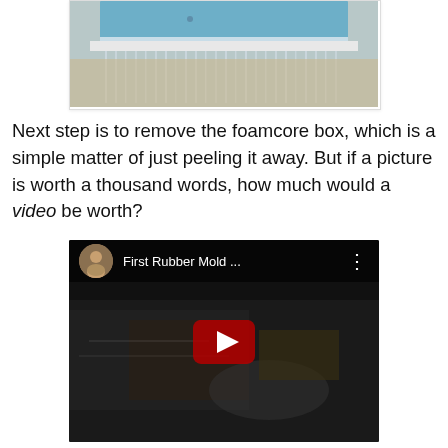[Figure (photo): Photo of a foamcore box mold with blue foam top and transparent plastic sheeting visible underneath, viewed from above at an angle on a wooden surface.]
Next step is to remove the foamcore box, which is a simple matter of just peeling it away. But if a picture is worth a thousand words, how much would a video be worth?
[Figure (screenshot): YouTube video thumbnail titled 'First Rubber Mold ...' showing a dark scene with a hand and plastic sheeting, with a red YouTube play button in the center and a circular avatar of a person in the top left.]